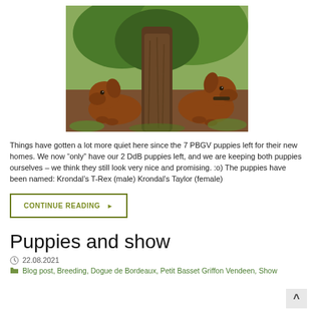[Figure (photo): Two brown/reddish Dogue de Bordeaux puppies sitting on either side of a tree trunk outdoors on grass and dirt]
Things have gotten a lot more quiet here since the 7 PBGV puppies left for their new homes. We now “only” have our 2 DdB puppies left, and we are keeping both puppies ourselves – we think they still look very nice and promising. :o) The puppies have been named: Krondal’s T-Rex (male) Krondal’s Taylor (female)
CONTINUE READING ▶
Puppies and show
22.08.2021
Blog post, Breeding, Dogue de Bordeaux, Petit Basset Griffon Vendeen, Show